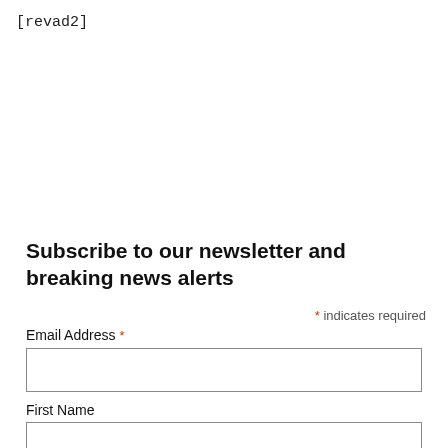[revad2]
Subscribe to our newsletter and breaking news alerts
* indicates required
Email Address *
First Name